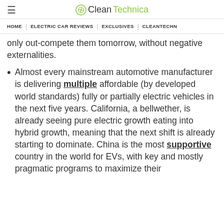☰  CleanTechnica
HOME | ELECTRIC CAR REVIEWS | EXCLUSIVES | CLEANTECHN…
only out-compete them tomorrow, without negative externalities.
Almost every mainstream automotive manufacturer is delivering multiple affordable (by developed world standards) fully or partially electric vehicles in the next five years. California, a bellwether, is already seeing pure electric growth eating into hybrid growth, meaning that the next shift is already starting to dominate. China is the most supportive country in the world for EVs, with key and mostly pragmatic programs to maximize their